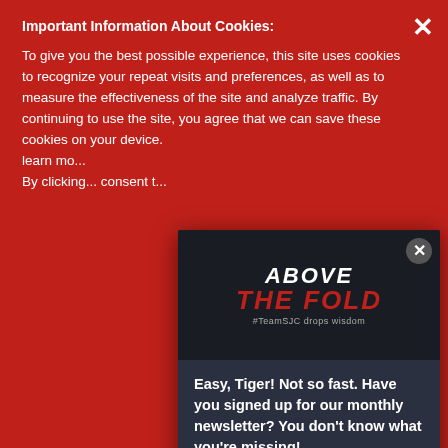Important Information About Cookies:
To give you the best possible experience, this site uses cookies to recognize your repeat visits and preferences, as well as to measure the effectiveness of the site and analyze traffic. By continuing to use the site, you agree that we can save these cookies on your device. learn mo... By clicking... consent t...
[Figure (screenshot): Above The Fold newsletter logo with tagline '#TeamSJC drops wisdom' on dark background]
Easy, Tiger! Not so fast. Have you signed up for our monthly newsletter? You don't know what you're missing!
SIGN UP
Let's ta... to pers...
There's... that Na... glorious...